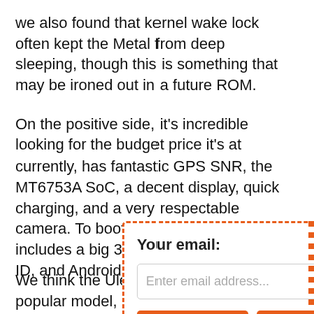we also found that kernel wake lock often kept the Metal from deep sleeping, though this is something that may be ironed out in a future ROM.
On the positive side, it's incredible looking for the budget price it's at currently, has fantastic GPS SNR, the MT6753A SoC, a decent display, quick charging, and a very respectable camera. To boot, the Ulefone Metal includes a big 3GB RAM, fingerprint ID, and Android 6.
[Figure (screenshot): Blue 'Buy U' button partially visible, overlapped by modal popup]
[Figure (screenshot): Email subscription modal dialog with dashed orange border, showing 'Your email:' label, 'Enter email address...' input field, and 'Subscribe' and 'Unsubscribe' orange buttons, with an X close button]
We think the Ulef... popular model, pe...